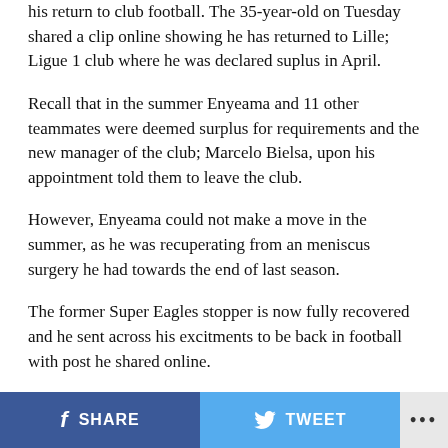his return to club football. The 35-year-old on Tuesday shared a clip online showing he has returned to Lille; Ligue 1 club where he was declared suplus in April.
Recall that in the summer Enyeama and 11 other teammates were deemed surplus for requirements and the new manager of the club; Marcelo Bielsa, upon his appointment told them to leave the club.
However, Enyeama could not make a move in the summer, as he was recuperating from an meniscus surgery he had towards the end of last season.
The former Super Eagles stopper is now fully recovered and he sent across his excitments to be back in football with post he shared online.
SHARE   TWEET   ...